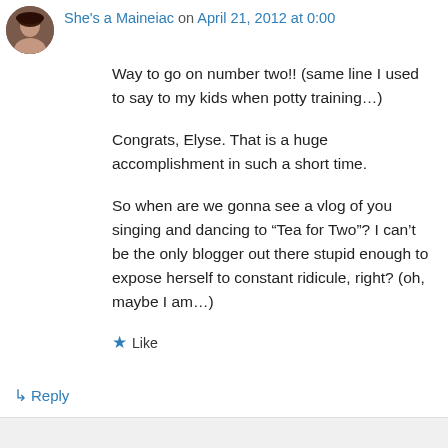She's a Maineiac on April 21, 2012 at 0:00
Way to go on number two!! (same line I used to say to my kids when potty training…)
Congrats, Elyse. That is a huge accomplishment in such a short time.
So when are we gonna see a vlog of you singing and dancing to “Tea for Two”? I can’t be the only blogger out there stupid enough to expose herself to constant ridicule, right? (oh, maybe I am…)
★ Like
↳ Reply